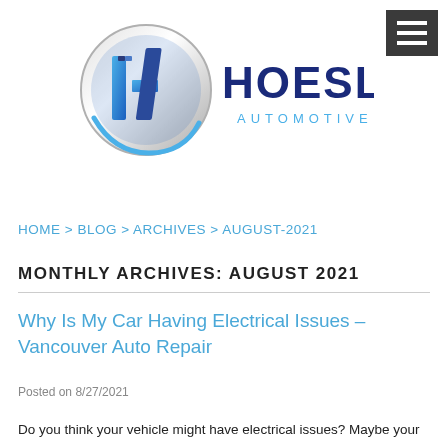[Figure (logo): Hoesly Automotive logo — stylized H letter in blue with circular chrome emblem, HOESLY text in dark blue, AUTOMOTIVE in light blue below]
HOME > BLOG > ARCHIVES > AUGUST-2021
MONTHLY ARCHIVES: AUGUST 2021
Why Is My Car Having Electrical Issues – Vancouver Auto Repair
Posted on 8/27/2021
Do you think your vehicle might have electrical issues? Maybe your